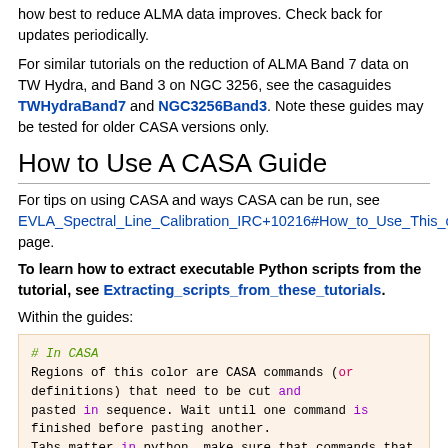how best to reduce ALMA data improves. Check back for updates periodically.
For similar tutorials on the reduction of ALMA Band 7 data on TW Hydra, and Band 3 on NGC 3256, see the casaguides TWHydraBand7 and NGC3256Band3. Note these guides may be tested for older CASA versions only.
How to Use A CASA Guide
For tips on using CASA and ways CASA can be run, see EVLA_Spectral_Line_Calibration_IRC+10216#How_to_Use_This_casaguide page.
To learn how to extract executable Python scripts from the tutorial, see Extracting_scripts_from_these_tutorials.
Within the guides:
[Figure (screenshot): Code block with salmon/peach background showing CASA command syntax explanation with colored keywords]